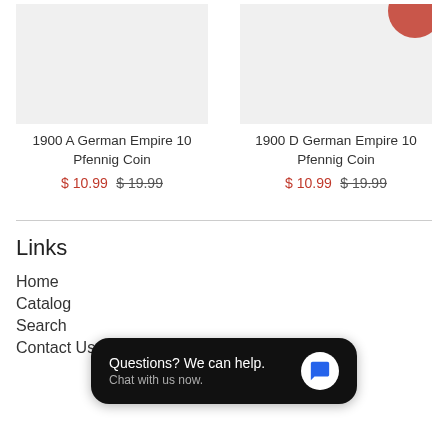[Figure (photo): Product image placeholder for 1900 A German Empire 10 Pfennig Coin — gray background]
1900 A German Empire 10 Pfennig Coin
$ 10.99  $ 19.99
[Figure (photo): Product image placeholder for 1900 D German Empire 10 Pfennig Coin — gray background with red-circle partial coin visible top-right]
1900 D German Empire 10 Pfennig Coin
$ 10.99  $ 19.99
Links
Home
Catalog
Search
Contact Us
Questions? We can help. Chat with us now.